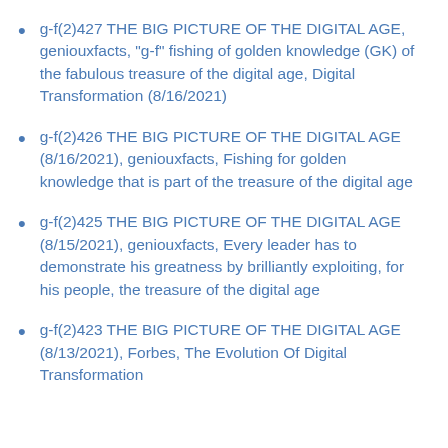g-f(2)427 THE BIG PICTURE OF THE DIGITAL AGE, geniouxfacts, "g-f" fishing of golden knowledge (GK) of the fabulous treasure of the digital age, Digital Transformation (8/16/2021)
g-f(2)426 THE BIG PICTURE OF THE DIGITAL AGE (8/16/2021), geniouxfacts, Fishing for golden knowledge that is part of the treasure of the digital age
g-f(2)425 THE BIG PICTURE OF THE DIGITAL AGE (8/15/2021), geniouxfacts, Every leader has to demonstrate his greatness by brilliantly exploiting, for his people, the treasure of the digital age
g-f(2)423 THE BIG PICTURE OF THE DIGITAL AGE (8/13/2021), Forbes, The Evolution Of Digital Transformation